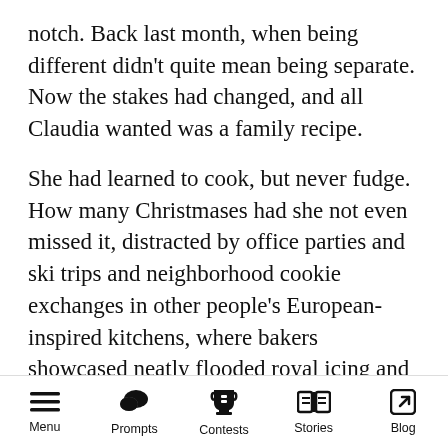notch. Back last month, when being different didn't quite mean being separate. Now the stakes had changed, and all Claudia wanted was a family recipe.
She had learned to cook, but never fudge. How many Christmases had she not even missed it, distracted by office parties and ski trips and neighborhood cookie exchanges in other people's European-inspired kitchens, where bakers showcased neatly flooded royal icing and sugar crystals that sparkled like snow on festive platters from Target and Michael's, while sipping Cabernet from wide-brimmed glasses?
Menu | Prompts | Contests | Stories | Blog